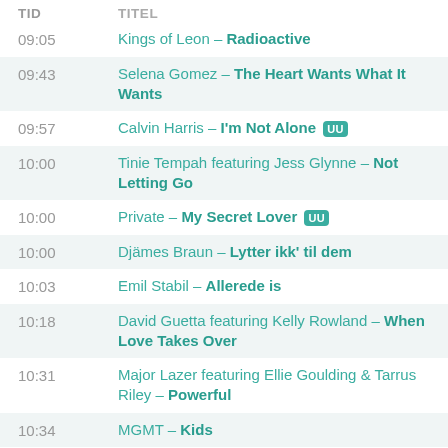| TID | TITEL |
| --- | --- |
| 09:05 | Kings of Leon – Radioactive |
| 09:43 | Selena Gomez – The Heart Wants What It Wants |
| 09:57 | Calvin Harris – I'm Not Alone [UU] |
| 10:00 | Tinie Tempah featuring Jess Glynne – Not Letting Go |
| 10:00 | Private – My Secret Lover [UU] |
| 10:00 | Djämes Braun – Lytter ikk' til dem |
| 10:03 | Emil Stabil – Allerede is |
| 10:18 | David Guetta featuring Kelly Rowland – When Love Takes Over |
| 10:31 | Major Lazer featuring Ellie Goulding & Tarrus Riley – Powerful |
| 10:34 | MGMT – Kids |
| 10:43 | I Got You on Tape – Spinning for the Cause |
| 10:57 | Mø – Don't Wanna Dance |
| 11:00 | Sam Feldt featuring Kimberly Anne – Show Me Love [UU] |
| 11:03 | Adam Lambert – Ghost Town |
| 11:19 | Emeli Sandé – Next to Me |